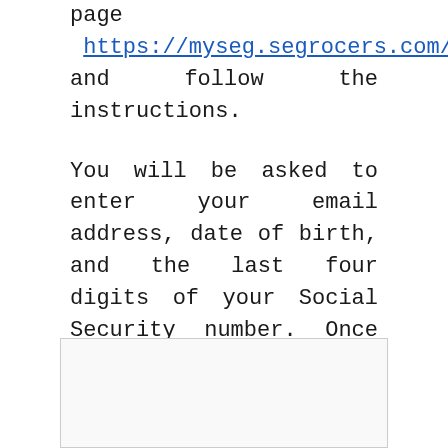page https://myseg.segrocers.com/ and follow the instructions.
You will be asked to enter your email address, date of birth, and the last four digits of your Social Security number. Once you have entered this information, click on the “Submit” button.
You will then be able to reset your password and access the employee portal.
[Figure (other): Empty bordered box at bottom of page]